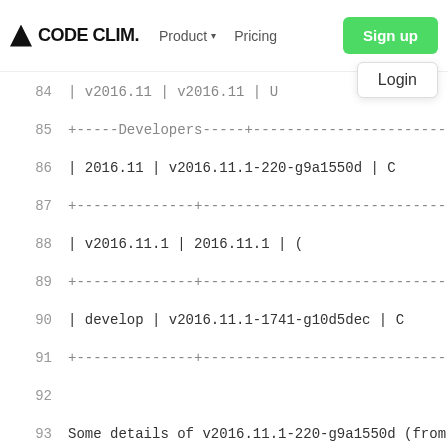CODE CLIM. | Product | Pricing | Sign up | Login
84  | v2016.11 | v2016.11 | U
85  +-----Developers------------------------------------------+--
86  | 2016.11 | v2016.11.1-220-g9a1550d | C
87  +---------------+------------------------------------------+--
88  | v2016.11.1 | 2016.11.1 | (
89  +---------------+------------------------------------------+--
90  | develop | v2016.11.1-1741-g10d5dec | C
91  +---------------+------------------------------------------+--
92  
93  Some details of v2016.11.1-220-g9a1550d (from `
94  
95  +----------------+------------------------------------------
96  |    Part        |                                       Comme
97  +================+==========================================
98  |v2016.11.1      | git describe finds the most
99  +----------------+------------------------------------------
100 |220             | Commits on top of the most